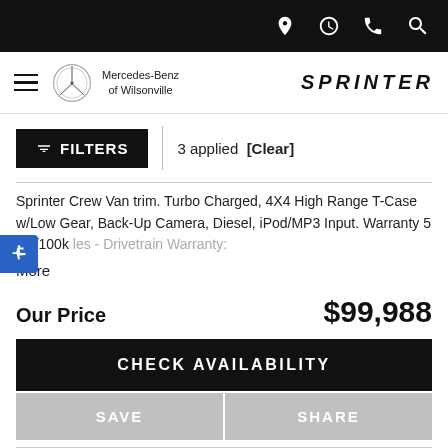Mercedes-Benz of Wilsonville — SPRINTER — navigation icons
FILTERS | 3 applied [Clear]
Sprinter Crew Van trim. Turbo Charged, 4X4 High Range T-Case w/Low Gear, Back-Up Camera, Diesel, iPod/MP3 Input. Warranty 5 yrs/100k les - Drivetrain Warranty:
More
Our Price   $99,988
CHECK AVAILABILITY
SAVE
SHARE
[Figure (photo): Blue sky with clouds — partial vehicle photo at bottom of page]